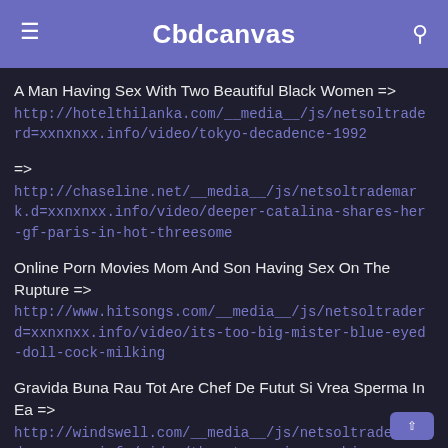Cbdcanvas
A Man Having Sex With Two Beautiful Black Women => http://hotelthilanka.com/__media__/js/netsoltraderd=xxnxnxx.info/video/tokyo-decadence-1992
=> http://chaseline.net/__media__/js/netsoltrademark.d=xxnxnxx.info/video/deeper-catalina-shares-her-gf-paris-in-hot-threesome
Online Porn Movies Mom And Son Having Sex On The Rupture => http://www.hitsongs.com/__media__/js/netsoltraderd=xxnxnxx.info/video/its-too-big-mister-blue-eyed-doll-cock-milking
Gravida Buna Rau Tot Are Chef De Futut Si Vrea Sperma In Ea => http://windswell.com/__media__/js/netsoltrademar d=xxnxnxx.info/video/the-storm-gives-a-bj